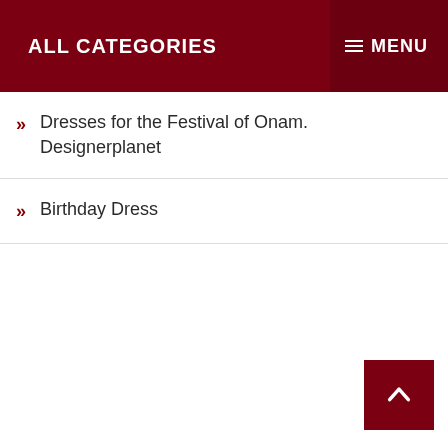ALL CATEGORIES   MENU
Dresses for the Festival of Onam. Designerplanet
Birthday Dress